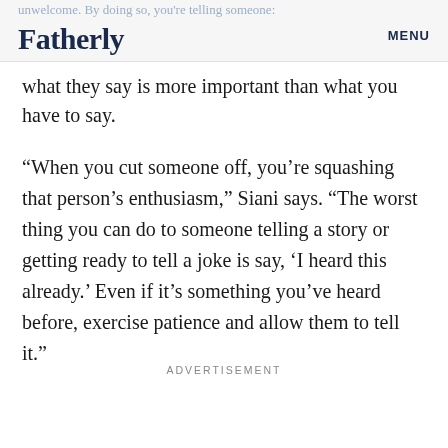Fatherly | MENU
unwelcome. By doing so, you're telling someone: what they say is more important than what you have to say.
“When you cut someone off, you’re squashing that person’s enthusiasm,” Siani says. “The worst thing you can do to someone telling a story or getting ready to tell a joke is say, ‘I heard this already.’ Even if it’s something you’ve heard before, exercise patience and allow them to tell it.”
ADVERTISEMENT